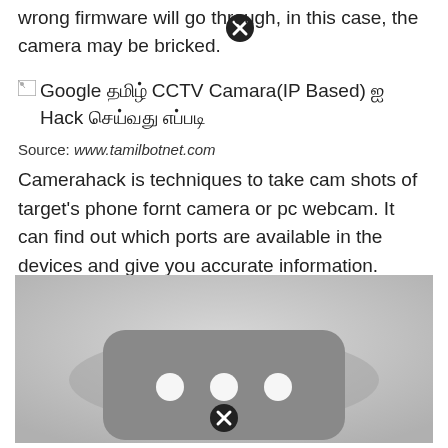wrong firmware will go through, in this case, the camera may be bricked.
Google தமிழ் CCTV Camara(IP Based) ஐ Hack செய்வது எப்படி
Source: www.tamilbotnet.com
Camerahack is techniques to take cam shots of target's phone fornt camera or pc webcam. It can find out which ports are available in the devices and give you accurate information.
[Figure (photo): Broken/loading image showing a dark rounded rectangle with three white dots (camera or media player icon) on a gray background, with broken image icons overlaid at top and bottom.]